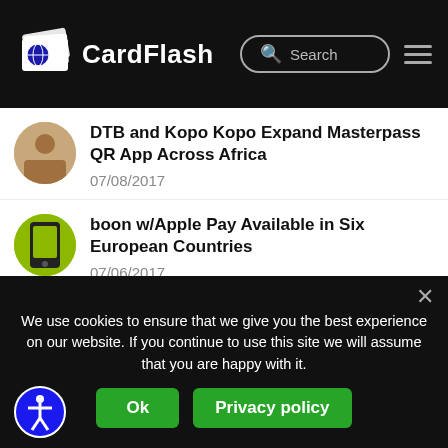CardFlash
DTB and Kopo Kopo Expand Masterpass QR App Across Africa
07/08/2017
boon w/Apple Pay Available in Six European Countries
07/06/2017
Yum China Says Mobile Payments Finger Lickin’ Good in 2017
07/06/2017
We use cookies to ensure that we give you the best experience on our website. If you continue to use this site we will assume that you are happy with it.